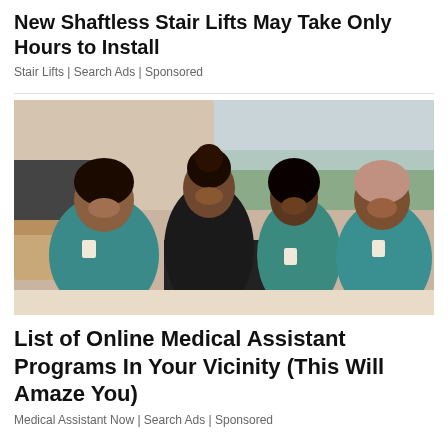New Shaftless Stair Lifts May Take Only Hours to Install
Stair Lifts | Search Ads | Sponsored
[Figure (photo): Four women in teal/green medical scrubs smiling and posing together in what appears to be a medical office or hospital setting, with computers and a window with city view in the background.]
List of Online Medical Assistant Programs In Your Vicinity (This Will Amaze You)
Medical Assistant Now | Search Ads | Sponsored